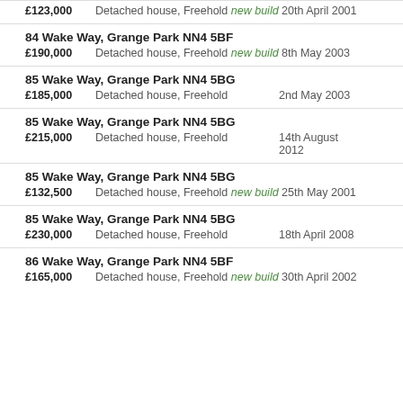£123,000 Detached house, Freehold new build 20th April 2001
84 Wake Way, Grange Park NN4 5BF — £190,000 Detached house, Freehold new build 8th May 2003
85 Wake Way, Grange Park NN4 5BG — £185,000 Detached house, Freehold 2nd May 2003
85 Wake Way, Grange Park NN4 5BG — £215,000 Detached house, Freehold 14th August 2012
85 Wake Way, Grange Park NN4 5BG — £132,500 Detached house, Freehold new build 25th May 2001
85 Wake Way, Grange Park NN4 5BG — £230,000 Detached house, Freehold 18th April 2008
86 Wake Way, Grange Park NN4 5BF — £165,000 Detached house, Freehold new build 30th April 2002